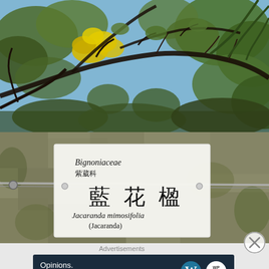[Figure (photo): Upward view of tree branches against blue sky with yellow flowers and green leaves]
[Figure (photo): Stone wall with a botanical identification sign reading: Bignoniaceae 紫葳科, 藍花楹 (large Chinese characters), Jacaranda mimosifolia (Jacaranda)]
Advertisements
[Figure (infographic): Dark blue advertisement banner reading: Opinions. We all have them! with WordPress and WP Beginner logos]